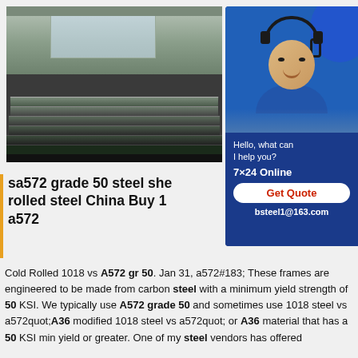[Figure (photo): Steel plates stacked in a warehouse/industrial facility]
[Figure (screenshot): Customer service chat widget with a woman wearing a headset, showing 'Hello, what can I help you?', '7×24 Online', 'Get Quote' button, and 'bsteel1@163.com']
sa572 grade 50 steel she rolled steel China Buy 10 a572
Cold Rolled 1018 vs A572 gr 50. Jan 31, a572#183; These frames are engineered to be made from carbon steel with a minimum yield strength of 50 KSI. We typically use A572 grade 50 and sometimes use 1018 steel vs a572quot;A36 modified 1018 steel vs a572quot; or A36 material that has a 50 KSI min yield or greater. One of my steel vendors has offered